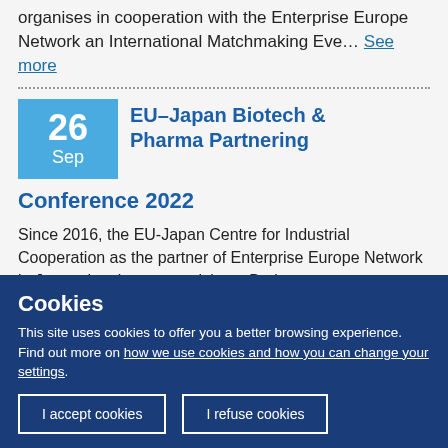organises in cooperation with the Enterprise Europe Network an International Matchmaking Eve… See more
EU–Japan Biotech & Pharma Partnering Conference 2022
Since 2016, the EU-Japan Centre for Industrial Cooperation as the partner of Enterprise Europe Network in Japan, has been organizing a Broke…
Cookies
This site uses cookies to offer you a better browsing experience. Find out more on how we use cookies and how you can change your settings.
I accept cookies | I refuse cookies